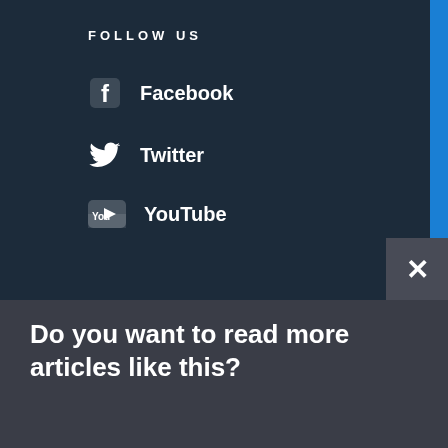FOLLOW US
Facebook
Twitter
YouTube
Do you want to read more articles like this?
Email Address
SUBSCRIBE